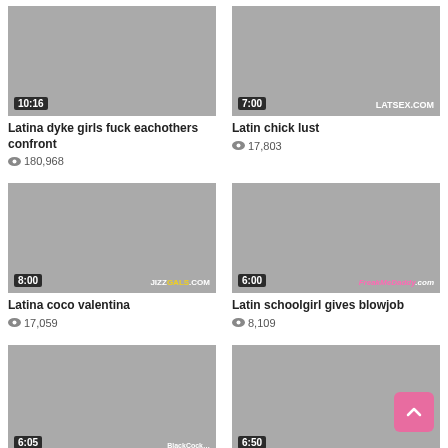[Figure (screenshot): Video thumbnail 1 - 10:16 duration]
Latina dyke girls fuck eachothers confront
👁 180,968
[Figure (screenshot): Video thumbnail 2 - 7:00 duration, LATSEX.COM watermark]
Latin chick lust
👁 17,803
[Figure (screenshot): Video thumbnail 3 - 8:00 duration, JIZZGALS.COM watermark]
Latina coco valentina
👁 17,059
[Figure (screenshot): Video thumbnail 4 - 6:00 duration, FreakMeDaddy watermark]
Latin schoolgirl gives blowjob
👁 8,109
[Figure (screenshot): Video thumbnail 5 - 6:05 duration, BlackCock watermark]
Bbc along with rimjob
[Figure (screenshot): Video thumbnail 6 - 6:50 duration]
Tiny teen latina veronica